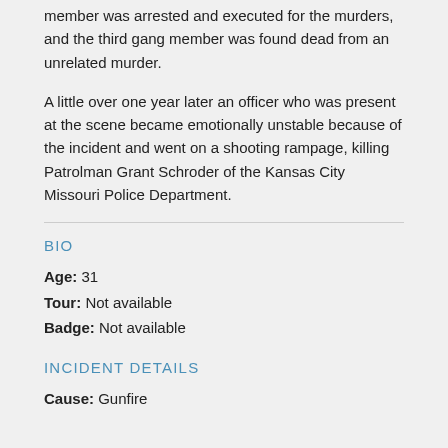member was arrested and executed for the murders, and the third gang member was found dead from an unrelated murder.
A little over one year later an officer who was present at the scene became emotionally unstable because of the incident and went on a shooting rampage, killing Patrolman Grant Schroder of the Kansas City Missouri Police Department.
BIO
Age: 31
Tour: Not available
Badge: Not available
INCIDENT DETAILS
Cause: Gunfire